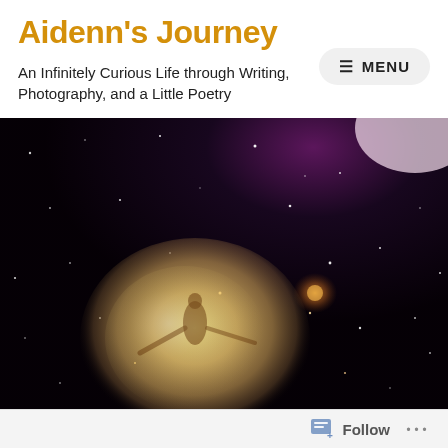Aidenn's Journey
An Infinitely Curious Life through Writing, Photography, and a Little Poetry
[Figure (illustration): A dark space scene with stars scattered across a black background. A glowing orb in the lower left contains a silhouette of a female figure with outstretched arms. A bright purple/pink light source radiates from the upper right. An orange lens flare appears in the middle right area.]
Follow ...